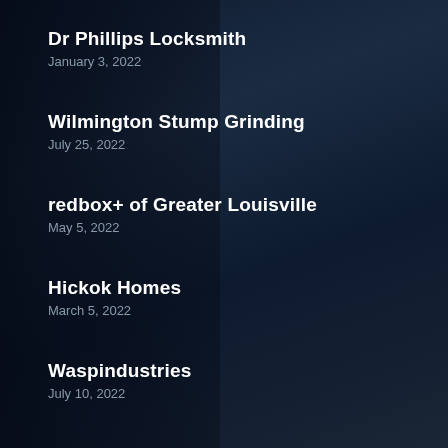Dr Phillips Locksmith
January 3, 2022
Wilmington Stump Grinding
July 25, 2022
redbox+ of Greater Louisville
May 5, 2022
Hickok Homes
March 5, 2022
Waspindustries
July 10, 2022